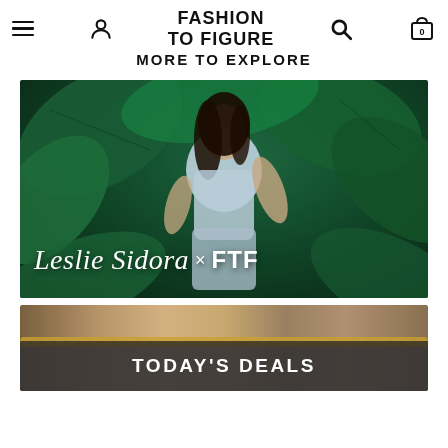FASHION TO FIGURE MORE TO EXPLORE
[Figure (photo): Fashion promotional photo: woman in light blue crop top and ruched skirt standing among large tropical green leaves. Text overlay reads 'Leslie Sidora x FTF' in white script and bold font.]
[Figure (photo): Close-up photo of a person's midsection wearing denim shorts with a gold belt/chain detail. Dark overlay bar at bottom reads 'TODAY'S DEALS' in white bold text.]